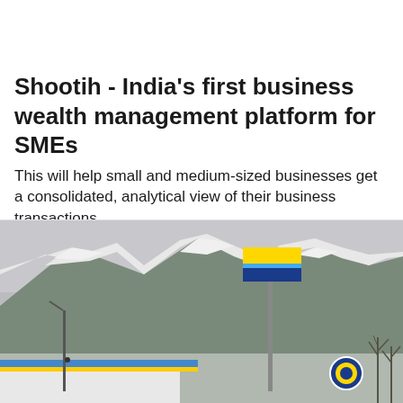Shootih - India's first business wealth management platform for SMEs
This will help small and medium-sized businesses get a consolidated, analytical view of their business transactions ...
Kyrgyzstan News
[Figure (photo): Outdoor scene with snow-covered mountains in the background and a gas station or service station in the foreground. A yellow and blue sign is visible on a tall pole. The sky is overcast.]